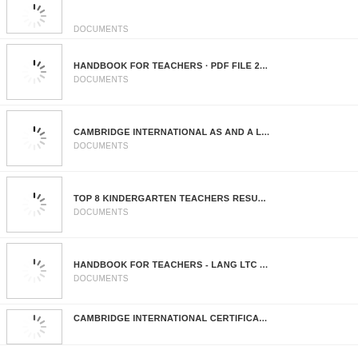DOCUMENTS
HANDBOOK FOR TEACHERS · PDF FILE 2... | DOCUMENTS
CAMBRIDGE INTERNATIONAL AS AND A L... | DOCUMENTS
TOP 8 KINDERGARTEN TEACHERS RESU... | DOCUMENTS
HANDBOOK FOR TEACHERS - LANG LTC ... | DOCUMENTS
CAMBRIDGE INTERNATIONAL CERTIFICA...